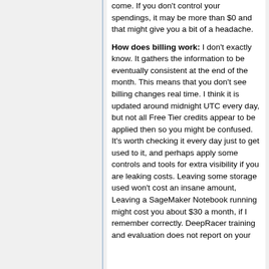come. If you don't control your spendings, it may be more than $0 and that might give you a bit of a headache.
How does billing work: I don't exactly know. It gathers the information to be eventually consistent at the end of the month. This means that you don't see billing changes real time. I think it is updated around midnight UTC every day, but not all Free Tier credits appear to be applied then so you might be confused. It's worth checking it every day just to get used to it, and perhaps apply some controls and tools for extra visibility if you are leaking costs. Leaving some storage used won't cost an insane amount, Leaving a SageMaker Notebook running might cost you about $30 a month, if I remember correctly. DeepRacer training and evaluation does not report on your